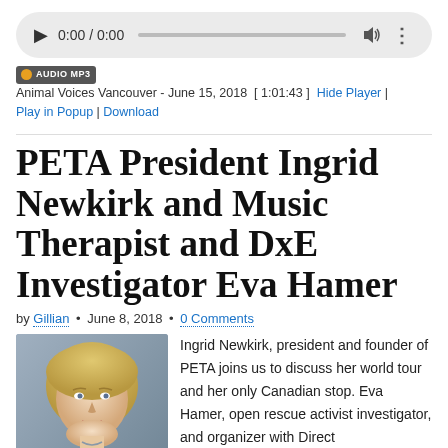[Figure (other): Audio player widget with play button, time display 0:00 / 0:00, progress bar, volume icon, and more options icon on a rounded gray background]
AUDIO MP3  Animal Voices Vancouver - June 15, 2018  [ 1:01:43 ]  Hide Player | Play in Popup | Download
PETA President Ingrid Newkirk and Music Therapist and DxE Investigator Eva Hamer
by Gillian • June 8, 2018 • 0 Comments
[Figure (photo): Portrait photo of a middle-aged woman with blonde hair wearing a blue floral top, smiling against a gray background]
Ingrid Newkirk, president and founder of PETA joins us to discuss her world tour and her only Canadian stop. Eva Hamer, open rescue activist investigator, and organizer with Direct